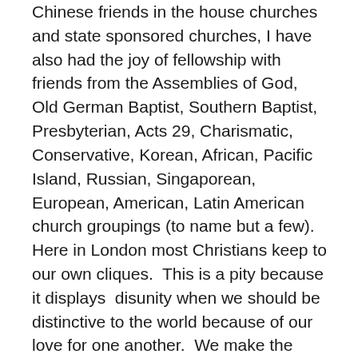Chinese friends in the house churches and state sponsored churches, I have also had the joy of fellowship with friends from the Assemblies of God, Old German Baptist, Southern Baptist, Presbyterian, Acts 29, Charismatic, Conservative, Korean, African, Pacific Island, Russian, Singaporean, European, American, Latin American church groupings (to name but a few).  Here in London most Christians keep to our own cliques.  This is a pity because it displays  disunity when we should be distinctive to the world because of our love for one another.  We make the problem worse by spending our time criticising every other group and worrying whether anyone outside our grouping is really a Christian.  The entire African church is sometimes written off as “prosperity gospel”, the charismatics are too “feeling orientated”, the conservatives are “quenching the Spirit”, the Koreans are “workaholics”, etc.